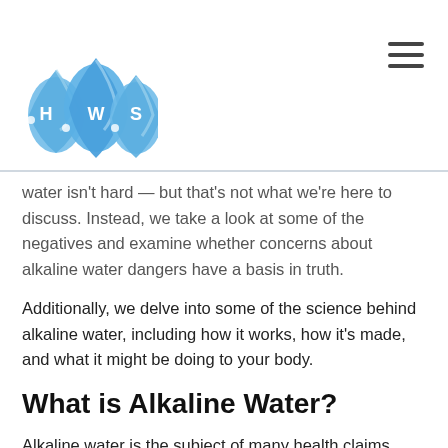HWS logo and navigation
water isn't hard — but that's not what we're here to discuss. Instead, we take a look at some of the negatives and examine whether concerns about alkaline water dangers have a basis in truth.
Additionally, we delve into some of the science behind alkaline water, including how it works, how it's made, and what it might be doing to your body.
What is Alkaline Water?
Alkaline water is the subject of many health claims.
Some companies claim alkaline water can slow the aging process, prevent chronic diseases such as cancer, and help create regularity in your body's pH level.